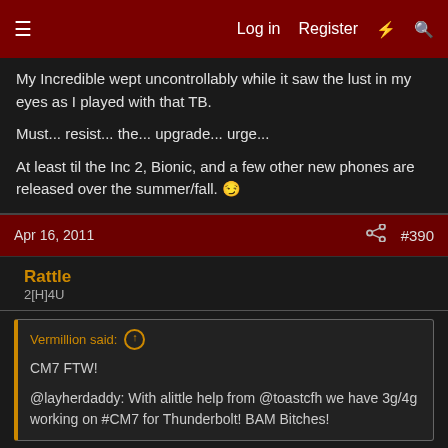Log in  Register
My Incredible wept uncontrollably while it saw the lust in my eyes as I played with that TB.

Must... resist... the... upgrade... urge...

At least til the Inc 2, Bionic, and a few other new phones are released over the summer/fall. 🤔
Apr 16, 2011  #390
Rattle
2[H]4U
Vermillion said:
CM7 FTW!

@layherdaddy: With alittle help from @toastcfh we have 3g/4g working on #CM7 for Thunderbolt! BAM Bitches!